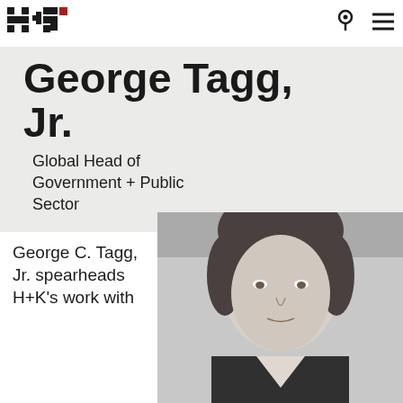[Figure (logo): H+K Strategies logo — stylized pixel/block letterforms H+K with a small red square accent]
[Figure (other): Location pin icon and hamburger menu icon in top right navigation]
George Tagg, Jr.
Global Head of Government + Public Sector
George C. Tagg, Jr. spearheads H+K's work with
[Figure (photo): Black and white portrait photograph of George C. Tagg Jr., a man with short hair wearing a suit]